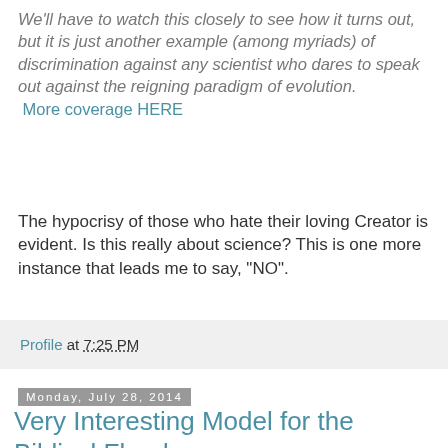We'll have to watch this closely to see how it turns out, but it is just another example (among myriads) of discrimination against any scientist who dares to speak out against the reigning paradigm of evolution.
More coverage HERE
The hypocrisy of those who hate their loving Creator is evident. Is this really about science? This is one more instance that leads me to say, "NO".
Profile at 7:25 PM
Monday, July 28, 2014
Very Interesting Model for the Biblical Flood
[Figure (screenshot): Video thumbnail showing 'The Hydroplate T...' with a person visible and a play button at the bottom]